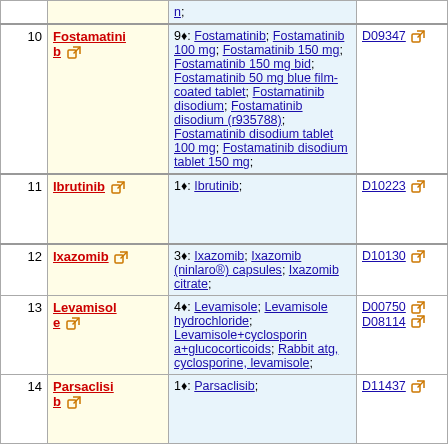| # | Drug | Synonyms | DrugBank ID |
| --- | --- | --- | --- |
| 10 | Fostamatinib | 9♦: Fostamatinib; Fostamatinib 100 mg; Fostamatinib 150 mg; Fostamatinib 150 mg bid; Fostamatinib 50 mg blue film-coated tablet; Fostamatinib disodium; Fostamatinib disodium (r935788); Fostamatinib disodium tablet 100 mg; Fostamatinib disodium tablet 150 mg; | D09347 |
| 11 | Ibrutinib | 1♦: Ibrutinib; | D10223 |
| 12 | Ixazomib | 3♦: Ixazomib; Ixazomib (ninlaro®) capsules; Ixazomib citrate; | D10130 |
| 13 | Levamisole | 4♦: Levamisole; Levamisole hydrochloride; Levamisole+cyclosporin a+glucocorticoids; Rabbit atg, cyclosporine, levamisole; | D00750 D08114 |
| 14 | Parsaclisib | 1♦: Parsaclisib; | D11437 |